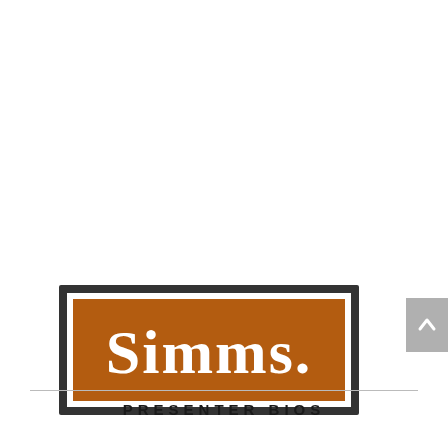[Figure (logo): Simms fishing brand logo: dark grey outer border rectangle, white inner border, orange/brown background rectangle with white bold text reading 'SIMMS.' with a registered trademark symbol]
PRESENTER BIOS